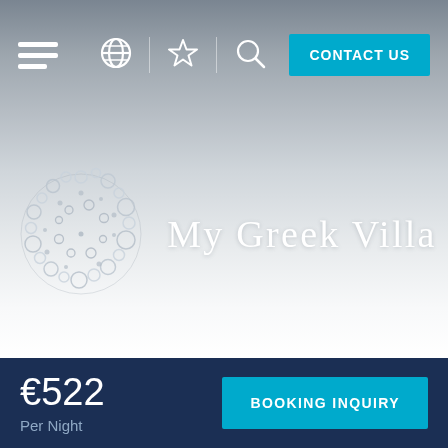[Figure (screenshot): Navigation bar with hamburger menu icon, globe icon, star icon, search icon, and a cyan CONTACT US button on a grey gradient background]
[Figure (logo): My Greek Villa logo with circular bubble/ring pattern emblem in grey/white and the text MY GREEK VILLA in serif font on a light grey to white gradient background]
€522
Per Night
[Figure (other): Cyan BOOKING INQUIRY button on dark navy blue bottom bar]